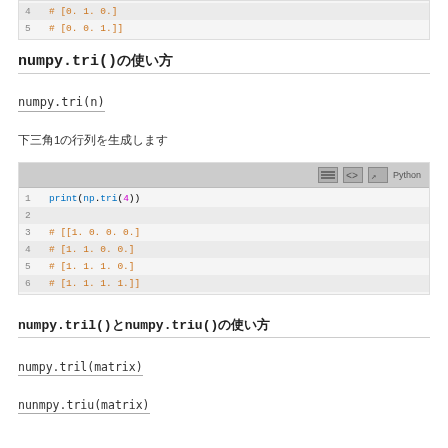[Figure (screenshot): Code block snippet showing lines 4-5: # [0. 1. 0.] and # [0. 0. 1.]]]
numpy.tri()の使い方
numpy.tri(n)
下三觓1の行列を生成します
[Figure (screenshot): Python code block: print(np.tri(4)) with output # [[1. 0. 0. 0.] # [1. 1. 0. 0.] # [1. 1. 1. 0.] # [1. 1. 1. 1.]]]
numpy.tril()とnumpy.triu()の使い方
numpy.tril(matrix)
nunmpy.triu(matrix)